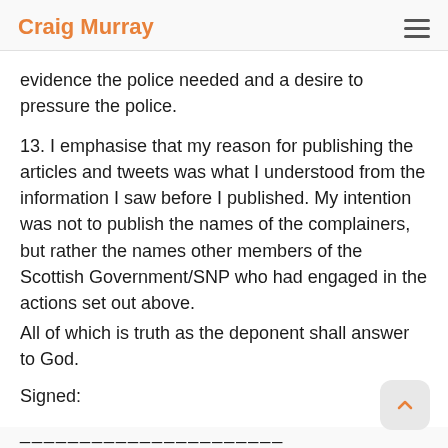Craig Murray
evidence the police needed and a desire to pressure the police.
13. I emphasise that my reason for publishing the articles and tweets was what I understood from the information I saw before I published. My intention was not to publish the names of the complainers, but rather the names other members of the Scottish Government/SNP who had engaged in the actions set out above.
All of which is truth as the deponent shall answer to God.
Signed:
______________________